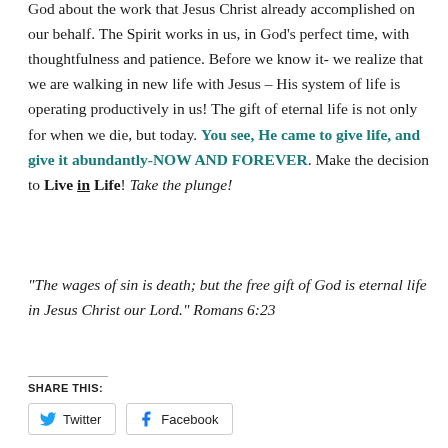Through our various life experiences we learn to agree with God about the work that Jesus Christ already accomplished on our behalf. The Spirit works in us, in God's perfect time, with thoughtfulness and patience. Before we know it- we realize that we are walking in new life with Jesus – His system of life is operating productively in us! The gift of eternal life is not only for when we die, but today. You see, He came to give life, and give it abundantly-NOW AND FOREVER. Make the decision to Live in Life! Take the plunge!
“The wages of sin is death; but the free gift of God is eternal life in Jesus Christ our Lord.” Romans 6:23
Share this: